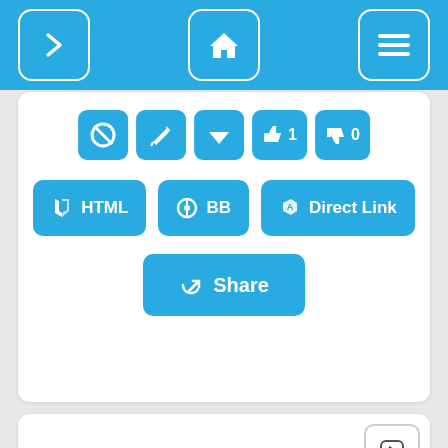[Figure (screenshot): Website navigation bar with blue background, forward arrow button on left, home icon button in center, and hamburger menu button on right]
[Figure (screenshot): Action buttons panel with icon row (ban, edit, heart, thumbs up 1, thumbs down 0), HTML button, BB button, Direct Link button, and Share button]
[Figure (screenshot): Content card with play button top-right, Halloween navigation pill button with left arrow, and a photo of a Monster High doll wearing an orange pumpkin Halloween costume with green skin and wild brown hair]